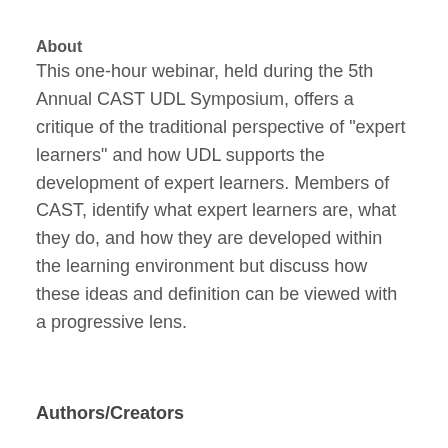About
This one-hour webinar, held during the 5th Annual CAST UDL Symposium, offers a critique of the traditional perspective of "expert learners" and how UDL supports the development of expert learners. Members of CAST, identify what expert learners are, what they do, and how they are developed within the learning environment but discuss how these ideas and definition can be viewed with a progressive lens.
Authors/Creators